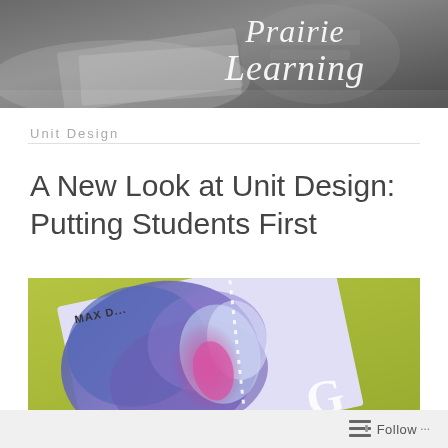[Figure (photo): Black and white header image with text 'Prairie Learning' in italic white/light font overlaid on a background showing books and papers on a desk]
Unit Design
A New Look at Unit Design: Putting Students First
[Figure (photo): Colorful book cover with blue and purple watercolor-style design with pink accent and dotted white line, partial text reading 'MAX D...' visible at top left and 'G' at bottom right, on a yellow-green background]
Follow